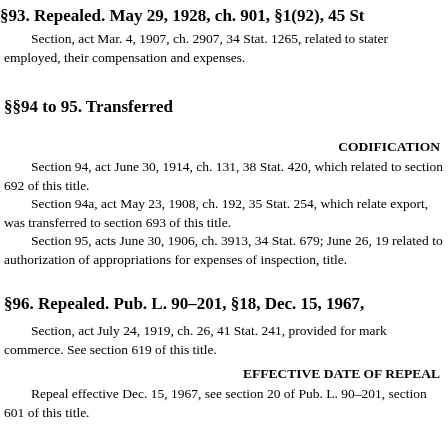§93. Repealed. May 29, 1928, ch. 901, §1(92), 45 St
Section, act Mar. 4, 1907, ch. 2907, 34 Stat. 1265, related to stater employed, their compensation and expenses.
§§94 to 95. Transferred
Codification
Section 94, act June 30, 1914, ch. 131, 38 Stat. 420, which related to section 692 of this title.
Section 94a, act May 23, 1908, ch. 192, 35 Stat. 254, which relate export, was transferred to section 693 of this title.
Section 95, acts June 30, 1906, ch. 3913, 34 Stat. 679; June 26, 19 related to authorization of appropriations for expenses of inspection, title.
§96. Repealed. Pub. L. 90–201, §18, Dec. 15, 1967,
Section, act July 24, 1919, ch. 26, 41 Stat. 241, provided for mark commerce. See section 619 of this title.
Effective Date of Repeal
Repeal effective Dec. 15, 1967, see section 20 of Pub. L. 90–201, section 601 of this title.